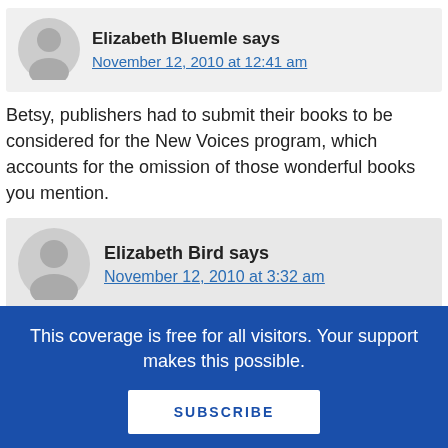Elizabeth Bluemle says
November 12, 2010 at 12:41 am
Betsy, publishers had to submit their books to be considered for the New Voices program, which accounts for the omission of those wonderful books you mention.
Elizabeth Bird says
November 12, 2010 at 3:32 am
Gah! Then I shall run about NYC kicking
This coverage is free for all visitors. Your support makes this possible.
SUBSCRIBE